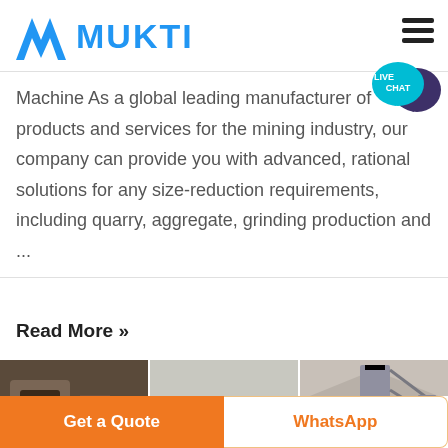MUKTI
Machine As a global leading manufacturer of products and services for the mining industry, our company can provide you with advanced, rational solutions for any size-reduction requirements, including quarry, aggregate, grinding production and ...
Read More »
[Figure (photo): Three photos of mining and industrial equipment: grinding/crushing machine, conveyor belts at quarry site, industrial tower/plant structure]
Get a Quote
WhatsApp